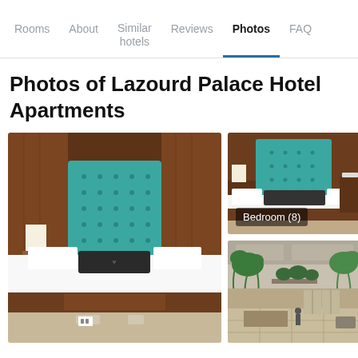Rooms  About  Similar hotels  Reviews  Photos  FAQ
Photos of Lazourd Palace Hotel Apartments
[Figure (photo): Large hotel bedroom photo showing a bed with white linens, a tufted teal/turquoise headboard, dark wood paneling behind the headboard, nightstand with white lamp, and dark decorative pillow.]
[Figure (photo): Hotel bedroom photo showing teal headboard, white bed with dark decorative pillow, dark wood furniture, labeled 'Bedroom (8)']
[Figure (photo): Hotel lobby/atrium photo showing interior with green plants hanging from upper floors and lobby area below with seating.]